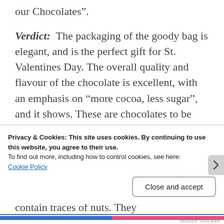our Chocolates”.
Verdict: The packaging of the goody bag is elegant, and is the perfect gift for St. Valentines Day. The overall quality and flavour of the chocolate is excellent, with an emphasis on “more cocoa, less sugar”, and it shows. These are chocolates to be savoured, and appreciated. The fruit flavours compliment the cocoa content, and neither overpowers the other. The chocolates in this pack are not suitable for those on a Gluten-Free diet. They may contain traces of nuts. They
Privacy & Cookies: This site uses cookies. By continuing to use this website, you agree to their use.
To find out more, including how to control cookies, see here:
Cookie Policy
Close and accept